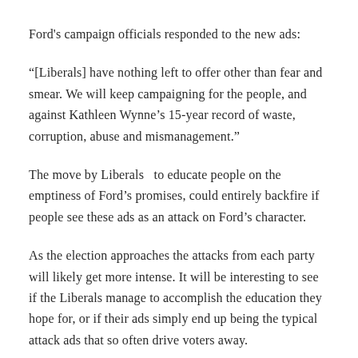Ford's campaign officials responded to the new ads:
“[Liberals] have nothing left to offer other than fear and smear. We will keep campaigning for the people, and against Kathleen Wynne’s 15-year record of waste, corruption, abuse and mismanagement.”
The move by Liberals  to educate people on the emptiness of Ford’s promises, could entirely backfire if people see these ads as an attack on Ford’s character.
As the election approaches the attacks from each party will likely get more intense. It will be interesting to see if the Liberals manage to accomplish the education they hope for, or if their ads simply end up being the typical attack ads that so often drive voters away.